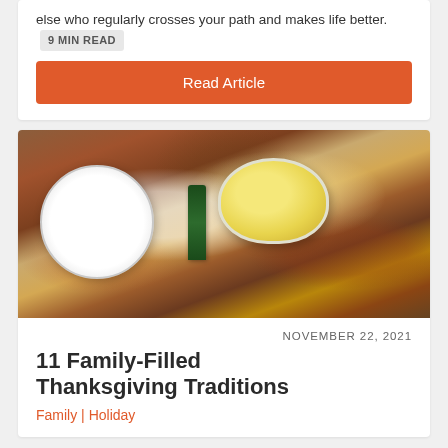else who regularly crosses your path and makes life better.  9 MIN READ
Read Article
[Figure (photo): Overhead view of a Thanksgiving dinner table with people's hands reaching for food. A white plate, a casserole dish with mashed potatoes, a wine bottle, glasses, and a roasted turkey are visible on a wooden table.]
NOVEMBER 22, 2021
11 Family-Filled Thanksgiving Traditions
Family | Holiday